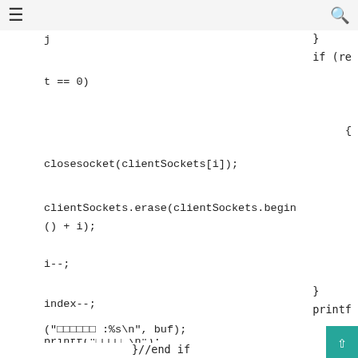j
} if (ret == 0) { closesocket(clientSockets[i]); clientSockets.erase(clientSockets.begin() + i); i--; index--; printf("□□□□.\n"); continue; } printf("□□□□□□ :%s\n", buf); }//end if